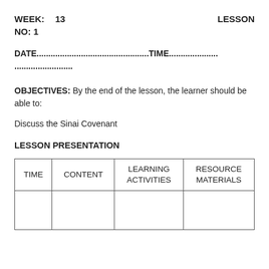WEEK: 13   LESSON NO: 1
DATE..................................................TIME.......................................
OBJECTIVES: By the end of the lesson, the learner should be able to:
Discuss the Sinai Covenant
LESSON PRESENTATION
| TIME | CONTENT | LEARNING ACTIVITIES | RESOURCE MATERIALS |
| --- | --- | --- | --- |
|  |  |  |  |